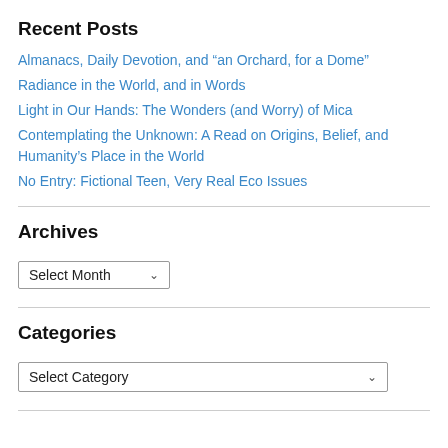Recent Posts
Almanacs, Daily Devotion, and “an Orchard, for a Dome”
Radiance in the World, and in Words
Light in Our Hands: The Wonders (and Worry) of Mica
Contemplating the Unknown: A Read on Origins, Belief, and Humanity’s Place in the World
No Entry: Fictional Teen, Very Real Eco Issues
Archives
Select Month
Categories
Select Category